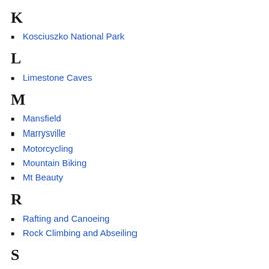K
Kosciuszko National Park
L
Limestone Caves
M
Mansfield
Marrysville
Motorcycling
Mountain Biking
Mt Beauty
R
Rafting and Canoeing
Rock Climbing and Abseiling
S
Sailing
Sawpit Creek
T